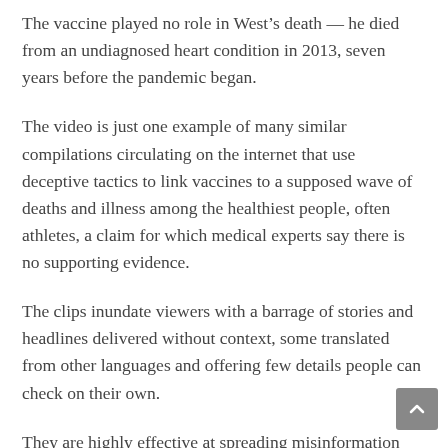The vaccine played no role in West’s death — he died from an undiagnosed heart condition in 2013, seven years before the pandemic began.
The video is just one example of many similar compilations circulating on the internet that use deceptive tactics to link vaccines to a supposed wave of deaths and illness among the healthiest people, often athletes, a claim for which medical experts say there is no supporting evidence.
The clips inundate viewers with a barrage of stories and headlines delivered without context, some translated from other languages and offering few details people can check on their own.
They are highly effective at spreading misinformation using a strategy that sows doubt and bypasses critical analysis, capitalizing on emotion, according to Norbert Schwarz, a professor of psychology and marketing at the University of